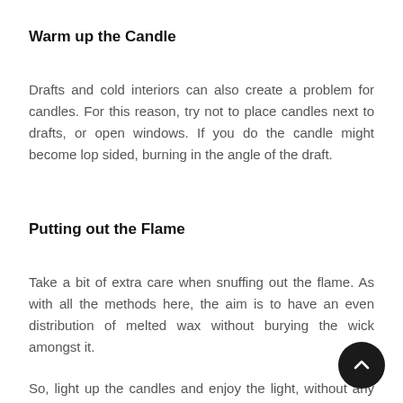Warm up the Candle
Drafts and cold interiors can also create a problem for candles. For this reason, try not to place candles next to drafts, or open windows. If you do the candle might become lop sided, burning in the angle of the draft.
Putting out the Flame
Take a bit of extra care when snuffing out the flame. As with all the methods here, the aim is to have an even distribution of melted wax without burying the wick amongst it.
So, light up the candles and enjoy the light, without any fear of trouble.